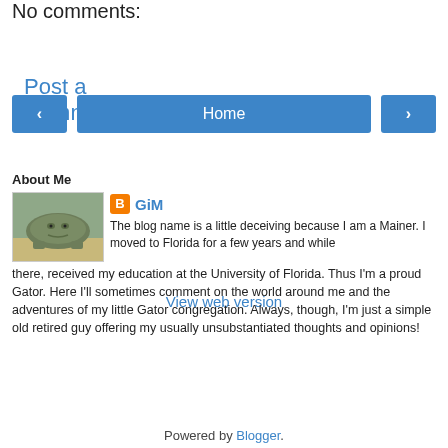No comments:
Post a Comment
[Figure (other): Navigation bar with left arrow button, Home button, and right arrow button]
View web version
About Me
[Figure (photo): Profile photo of a lizard/alligator on sandy ground]
GiM
The blog name is a little deceiving because I am a Mainer. I moved to Florida for a few years and while there, received my education at the University of Florida. Thus I'm a proud Gator. Here I'll sometimes comment on the world around me and the adventures of my little Gator congregation. Always, though, I'm just a simple old retired guy offering my usually unsubstantiated thoughts and opinions!
View my complete profile
Powered by Blogger.